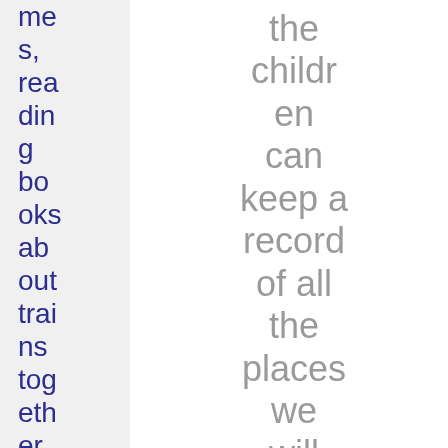mes, reading books about trains together, wa
the children can keep a record of all the places we will